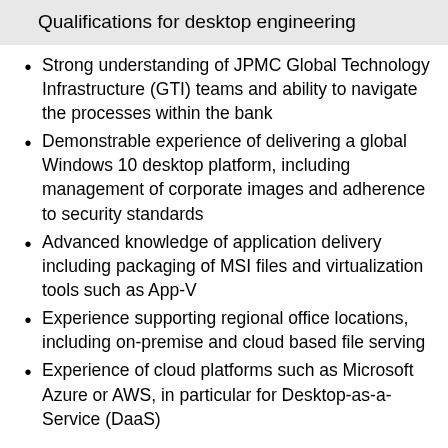Qualifications for desktop engineering
Strong understanding of JPMC Global Technology Infrastructure (GTI) teams and ability to navigate the processes within the bank
Demonstrable experience of delivering a global Windows 10 desktop platform, including management of corporate images and adherence to security standards
Advanced knowledge of application delivery including packaging of MSI files and virtualization tools such as App-V
Experience supporting regional office locations, including on-premise and cloud based file serving
Experience of cloud platforms such as Microsoft Azure or AWS, in particular for Desktop-as-a-Service (DaaS)